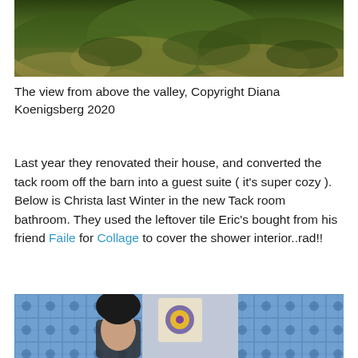[Figure (photo): Top portion of a landscape photo showing a valley view with green and brown hillside vegetation, Copyright Diana Koenigsberg 2020]
The view from above the valley, Copyright Diana Koenigsberg 2020
Last year they renovated their house, and converted the tack room off the barn into a guest suite ( it's super cozy ). Below is Christa last Winter in the new Tack room bathroom. They used the leftover tile Eric's bought from his friend Faile for Collage to cover the shower interior..rad!!
[Figure (photo): Bottom portion of a photo showing a woman with dark hair standing in front of a decorative tiled wall with blue and white patterned tiles in a bathroom]